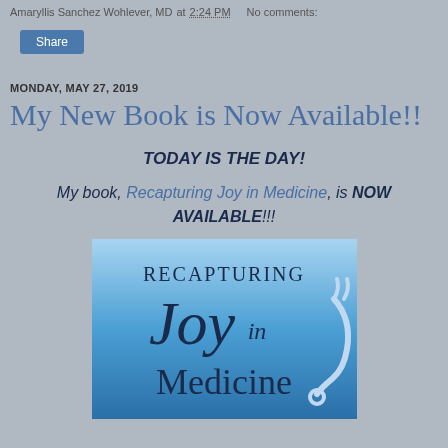Amaryllis Sanchez Wohlever, MD at 2:24 PM   No comments:
Share
MONDAY, MAY 27, 2019
My New Book is Now Available!!
TODAY IS THE DAY!
My book, Recapturing Joy in Medicine, is NOW AVAILABLE!!!
[Figure (illustration): Book cover of 'Recapturing Joy in Medicine' — blue gradient background with the title in dark navy serif font, showing a partial stethoscope on the right side.]